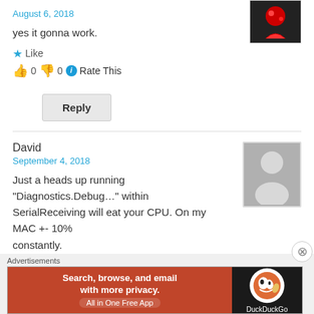August 6, 2018
yes it gonna work.
★ Like
👍 0 👎 0 ⓘ Rate This
Reply
David
September 4, 2018
Just a heads up running "Diagnostics.Debug…" within SerialReceiving will eat your CPU. On my MAC +- 10% constantly.
Advertisements
[Figure (screenshot): DuckDuckGo advertisement banner: Search, browse, and email with more privacy. All in One Free App]